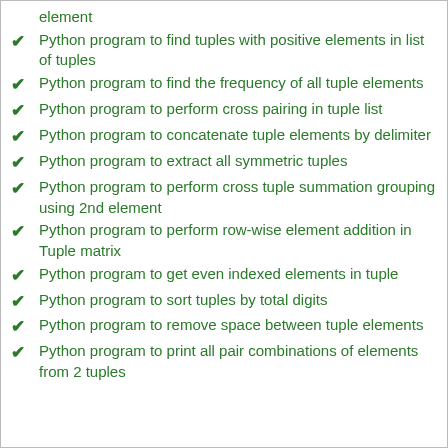element
Python program to find tuples with positive elements in list of tuples
Python program to find the frequency of all tuple elements
Python program to perform cross pairing in tuple list
Python program to concatenate tuple elements by delimiter
Python program to extract all symmetric tuples
Python program to perform cross tuple summation grouping using 2nd element
Python program to perform row-wise element addition in Tuple matrix
Python program to get even indexed elements in tuple
Python program to sort tuples by total digits
Python program to remove space between tuple elements
Python program to print all pair combinations of elements from 2 tuples